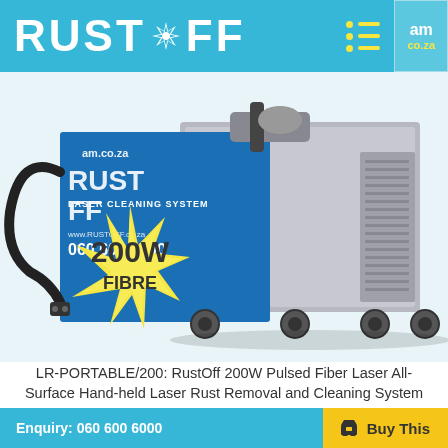RUST*OFF | am.co.za
[Figure (photo): RustOff 200W Pulsed Fiber Laser Cleaning System machine on wheels, blue branded enclosure with 'RUST OFF LASER CLEANING SYSTEM www.rustoff.co.za 060 600 6000' text, yellow starburst badge showing '200W FIBRE', photographed on white background]
LR-PORTABLE/200: RustOff 200W Pulsed Fiber Laser All-Surface Hand-held Laser Rust Removal and Cleaning System
Enquiry: 060 600 6000 | Buy This